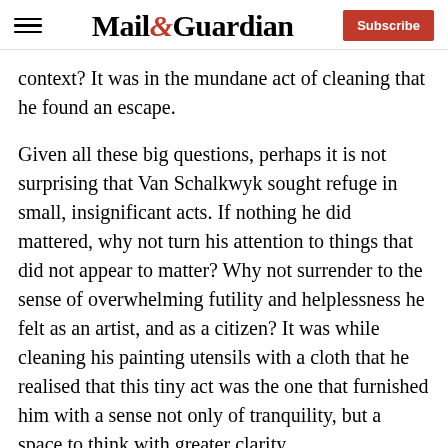Mail&Guardian — Subscribe
context? It was in the mundane act of cleaning that he found an escape.
Given all these big questions, perhaps it is not surprising that Van Schalkwyk sought refuge in small, insignificant acts. If nothing he did mattered, why not turn his attention to things that did not appear to matter? Why not surrender to the sense of overwhelming futility and helplessness he felt as an artist, and as a citizen? It was while cleaning his painting utensils with a cloth that he realised that this tiny act was the one that furnished him with a sense not only of tranquility, but a space to think with greater clarity.